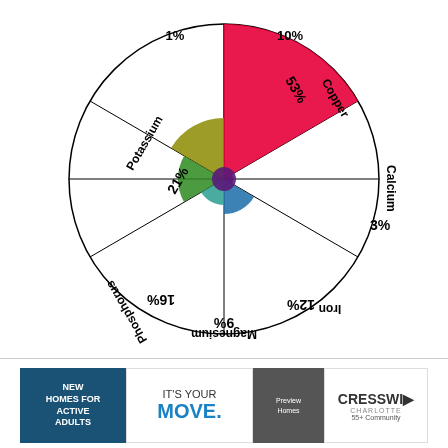[Figure (radar-chart): Mineral Content Radar Chart]
[Figure (infographic): Advertisement for Cresswind Charlotte 55+ community new homes for active adults]